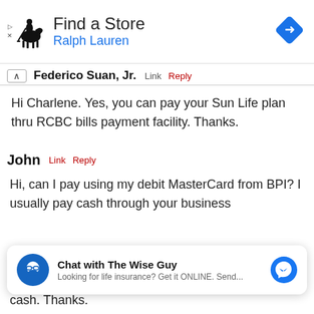[Figure (screenshot): Ralph Lauren 'Find a Store' advertisement banner with polo player logo and blue navigation arrow icon]
Federico Suan, Jr.  Link  Reply
Hi Charlene. Yes, you can pay your Sun Life plan thru RCBC bills payment facility. Thanks.
John  Link  Reply
Hi, can I pay using my debit MasterCard from BPI? I usually pay cash through your business cash. Thanks.
[Figure (screenshot): Chat with The Wise Guy widget - Looking for life insurance? Get it ONLINE. Send...]